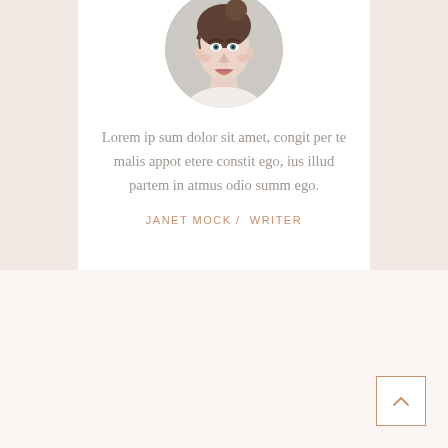[Figure (photo): Circular profile photo of a young woman with dark hair pulled up, light skin, looking directly at camera, on a light background]
Lorem ip sum dolor sit amet, congit per te malis appot etere constit ego, ius illud partem in atmus odio summ ego.
JANET MOCK /  WRITER